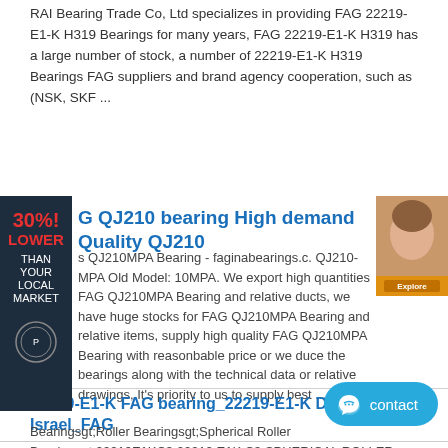RAI Bearing Trade Co, Ltd specializes in providing FAG 22219-E1-K H319 Bearings for many years, FAG 22219-E1-K H319 has a large number of stock, a number of 22219-E1-K H319 Bearings FAG suppliers and brand agency cooperation, such as (NSK, SKF ...
[Figure (other): Advertisement banner with dark blue background showing '30% LOWER THAN YOUR LOCAL MARKET' text in red and white, with a circular seal logo, and a side image of a woman's face with an orange 'Explore' button]
G QJ210 bearing High demand Quality QJ210
s QJ210MPA Bearing - faginabearings.c. QJ210-MPA Old Model: 10MPA. We export high quantities FAG QJ210MPA Bearing and relative ducts, we have huge stocks for FAG QJ210MPA Bearing and relative items, supply high quality FAG QJ210MPA Bearing with reasonbable price or we duce the bearings along with the technical data or relative drawings, It's priority to us to supply best ...
22219-E1-K FAG bearing_22219-E1-K Dealers in Israel_FAG
Bearingsgt;Roller Bearingsgt;Spherical Roller Bearingsgt;22219E1KC3 22219 E1K C3 SPHERICAL ROLLER BEARING Leader Singapore is authorized dealers in interchange all bearing types including FAG BEARING 22219E1KC3 McGill CAMROL Cam Followers fag nsk skf timken ina koyo bearing configurations and advanced products such as housed units integr,If you want to know FAG 22219-E1-K bearing's Dealers ...
[Figure (other): Blue 'contact' button with chat icon in bottom right corner]